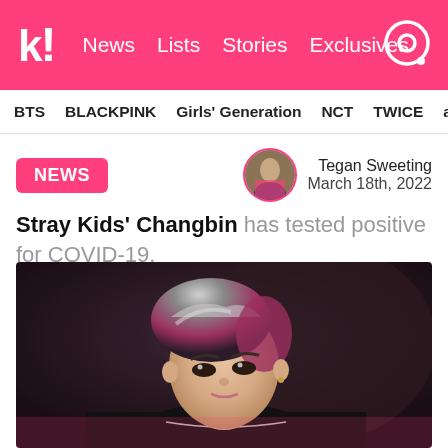k! News Lists Stories Exclusives
BTS BLACKPINK Girls' Generation NCT TWICE aespa
NEWS
Tegan Sweeting
March 18th, 2022
Stray Kids' Changbin has tested positive for COVID-19.
[Figure (photo): Close-up photo of Changbin from Stray Kids with silver and dark hair, wearing a black jacket]